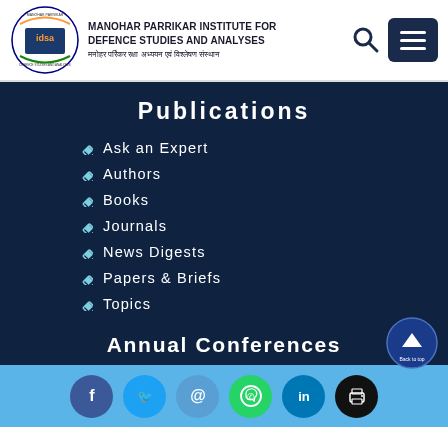[Figure (logo): IDSA logo - Manohar Parrikar Institute for Defence Studies and Analyses circular logo with Indian flag colors]
MANOHAR PARRIKAR INSTITUTE FOR DEFENCE STUDIES AND ANALYSES
मनोहर पर्रिकर रक्षा अध्ययन एवं विश्लेषण संस्थान
Publications
Ask an Expert
Authors
Books
Journals
News Digests
Papers & Briefs
Topics
Annual Conferences
[Figure (infographic): Social media icons footer: Facebook, Twitter, Email, WhatsApp, LinkedIn, Print]